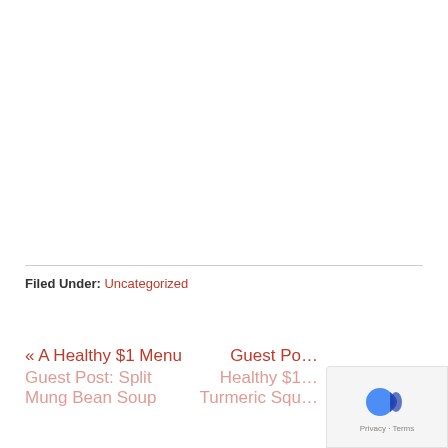Filed Under: Uncategorized
« A Healthy $1 Menu  |  Guest Post: Split Mung Bean Soup  |  Guest Post: Healthy $1 Turmeric Squash...